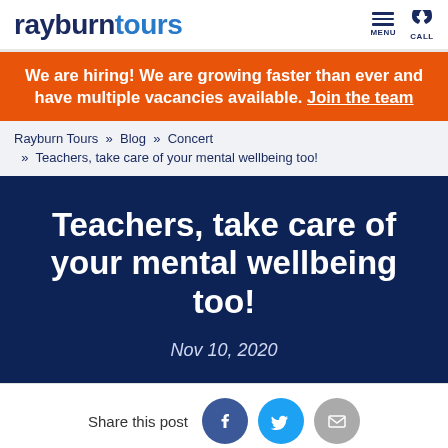rayburntours — MENU | CALL
We are hiring! We are growing faster than ever and have multiple vacancies available. Join the team
Rayburn Tours » Blog » Concert » Teachers, take care of your mental wellbeing too!
Teachers, take care of your mental wellbeing too!
Nov 10, 2020
Share this post